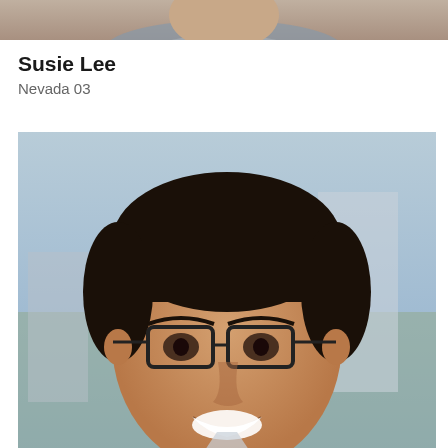[Figure (photo): Partial cropped photo at top of page showing shoulders/neck of a person (Susie Lee), only bottom portion visible]
Susie Lee
Nevada 03
[Figure (photo): Portrait photo of Tony Vargas, a man with dark hair and glasses wearing a blue blazer, smiling, photographed outdoors]
Tony Vargas
Nevada 02
[Figure (photo): Partial photo at bottom of page showing top portion of a woman with long brown hair]
[Figure (other): Pink circular back/up navigation button with chevron arrow icon]